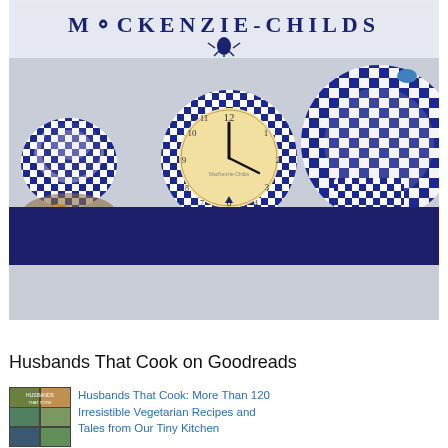[Figure (photo): MacKenzie-Childs branded banner showing blue and white checkered kitchenware items including a wall clock with checkered frame, a large checkered plate/lid, and a checkered container, against a pale gray background. Brand name 'MacKenzie-Childs' displayed at top in dark navy serif lettering with a thistle emblem. A navy blue banner bar below the product photo.]
Husbands That Cook on Goodreads
[Figure (photo): Small book cover thumbnail for 'Husbands That Cook' showing a collage of food images in a grid.]
Husbands That Cook: More Than 120 Irresistible Vegetarian Recipes and Tales from Our Tiny Kitchen